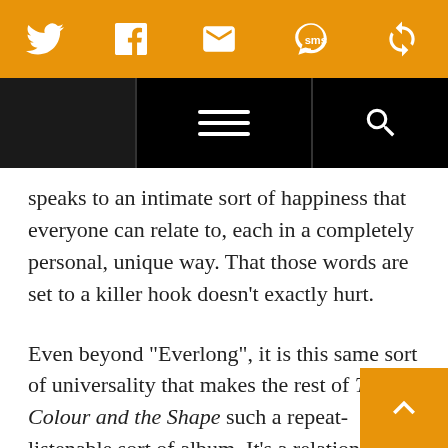[Social share bar: Twitter, Facebook, Email, SMS, Other icons]
[Navigation bar with hamburger menu and search icon]
speaks to an intimate sort of happiness that everyone can relate to, each in a completely personal, unique way. That those words are set to a killer hook doesn’t exactly hurt.
Even beyond “Everlong”, it is this same sort of universality that makes the rest of The Colour and the Shape such a repeat-listenable sort of album. It’s a relationship album — Grohl was going through a painful divorce as the band was making the album — and yet it doesn’t come off as lovey, or